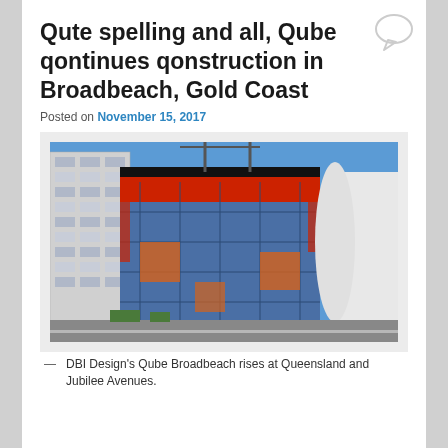Qute spelling and all, Qube qontinues qonstruction in Broadbeach, Gold Coast
Posted on November 15, 2017
[Figure (photo): Construction photo of Qube Broadbeach building under construction, wrapped in blue scaffolding and red safety netting, cranes visible, with adjacent high-rise buildings on Queensland and Jubilee Avenues, Gold Coast.]
— DBI Design's Qube Broadbeach rises at Queensland and Jubilee Avenues.